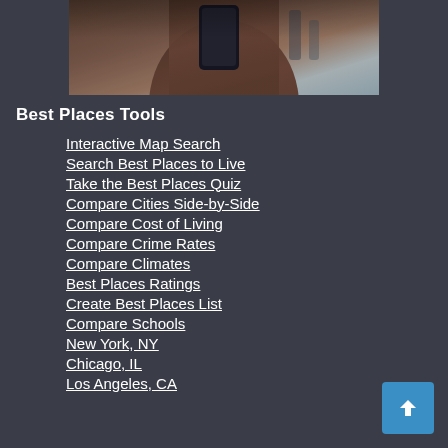[Figure (photo): Person's torso/lower body, blurred background street scene]
Best Places Tools
Interactive Map Search
Search Best Places to Live
Take the Best Places Quiz
Compare Cities Side-by-Side
Compare Cost of Living
Compare Crime Rates
Compare Climates
Best Places Ratings
Create Best Places List
Compare Schools
New York, NY
Chicago, IL
Los Angeles, CA